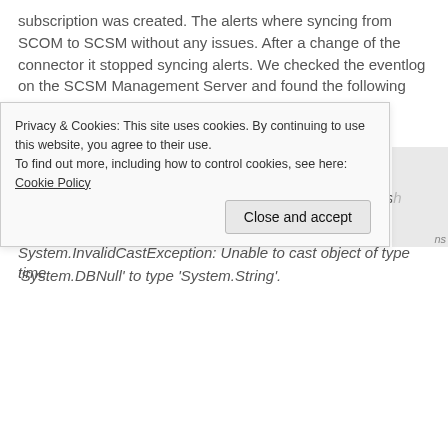subscription was created. The alerts where syncing from SCOM to SCSM without any issues. After a change of the connector it stopped syncing alerts. We checked the eventlog on the SCSM Management Server and found the following errors:
Error 1:
The System Center Data Access service client threw an unknown exception while processing a type cache refresh notification. The cache was not updated successfully:
System.InvalidCastException: Unable to cast object of type 'System.DBNull' to type 'System.String'.
Privacy & Cookies: This site uses cookies. By continuing to use this website, you agree to their use.
To find out more, including how to control cookies, see here: Cookie Policy
time